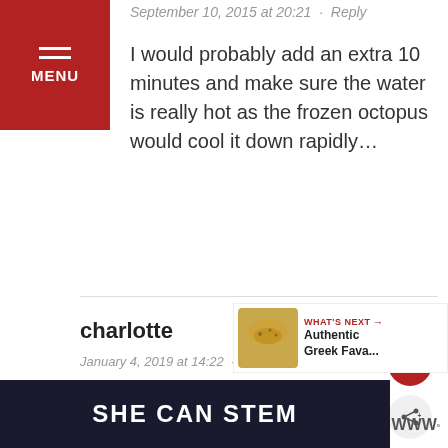MENU
September 10, 2015 at 20:21 · Reply
I would probably add an extra 10 minutes and make sure the water is really hot as the frozen octopus would cool it down rapidly…
charlotte
January 4, 2019 at 14:22 · Reply
have done this 3 times having again for Sunday lun delicious
WHAT'S NEXT → Authentic Greek Fava...
[Figure (screenshot): Ad banner with dark background and white text reading SHE CAN STEM]
[Figure (logo): W logo with superscript degree symbol]